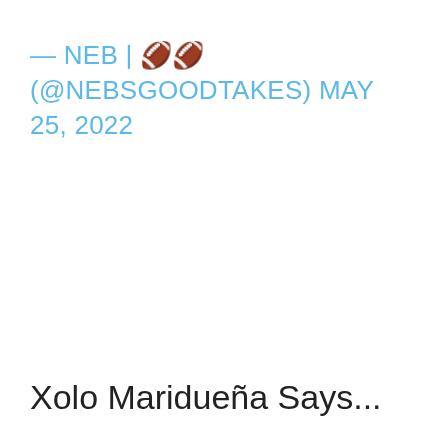— NEB | 🏈🏈 (@NEBSGOODTAKES) MAY 25, 2022
Xolo Maridueña Says...